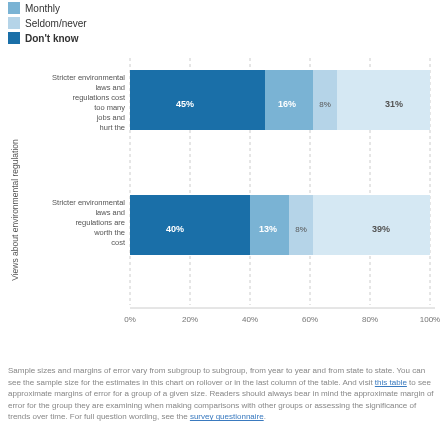[Figure (stacked-bar-chart): Views about environmental regulation]
Sample sizes and margins of error vary from subgroup to subgroup, from year to year and from state to state. You can see the sample size for the estimates in this chart on rollover or in the last column of the table. And visit this table to see approximate margins of error for a group of a given size. Readers should always bear in mind the approximate margin of error for the group they are examining when making comparisons with other groups or assessing the significance of trends over time. For full question wording, see the survey questionnaire.